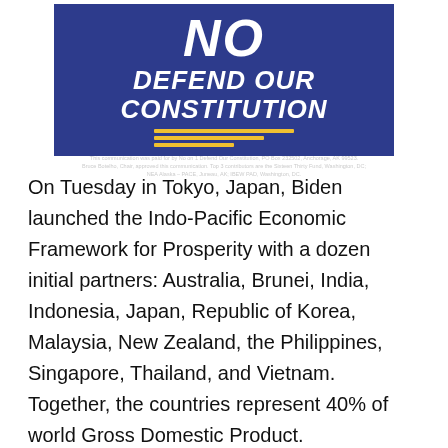[Figure (illustration): A dark blue banner graphic with large white bold italic text reading 'NO' at the top (partially cropped), followed by 'DEFEND OUR CONSTITUTION' in large white bold italic text, with yellow horizontal stripes decorative element. Small disclaimer text at bottom reads: 'This communication was paid for by No on 1 Defend Our Constitution, PO Box 232502, Anchorage, AK 99523. Bruce Botelho, Chair, approved this communication. Top 3 contributors are the Sixteen Thirty Fund, Washington, DC; NEA Alaska - PACE, Juneau, AK; IBEW PAD, Washington, DC.']
On Tuesday in Tokyo, Japan, Biden launched the Indo-Pacific Economic Framework for Prosperity with a dozen initial partners: Australia, Brunei, India, Indonesia, Japan, Republic of Korea, Malaysia, New Zealand, the Philippines, Singapore, Thailand, and Vietnam. Together, the countries represent 40% of world Gross Domestic Product.
“The United States is an Indo-Pacific economic power, and expanding U.S. economic leadership in the region is good for American workers and businesses — as well as for the